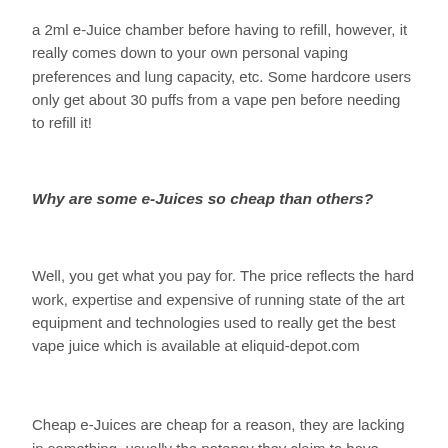a 2ml e-Juice chamber before having to refill, however, it really comes down to your own personal vaping preferences and lung capacity, etc. Some hardcore users only get about 30 puffs from a vape pen before needing to refill it!
Why are some e-Juices so cheap than others?
Well, you get what you pay for. The price reflects the hard work, expertise and expensive of running state of the art equipment and technologies used to really get the best vape juice which is available at eliquid-depot.com
Cheap e-Juices are cheap for a reason, they are lacking in something, usually the potency they claim to have. Most people associate cheap products with coming from China, where output and sales are considered a higher priority than quality, however, there is also a danger closer to home too. Some Western-made products which